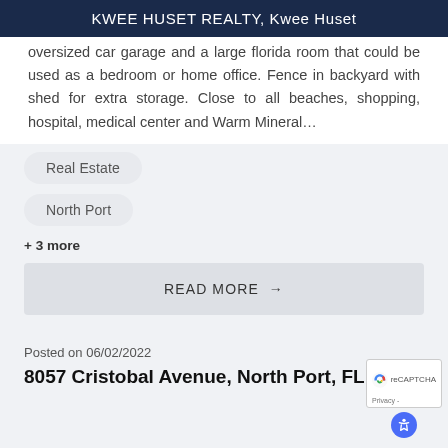KWEE HUSET REALTY, Kwee Huset
oversized car garage and a large florida room that could be used as a bedroom or home office. Fence in backyard with shed for extra storage. Close to all beaches, shopping, hospital, medical center and Warm Mineral…
Real Estate
North Port
+ 3 more
READ MORE →
Posted on 06/02/2022
8057 Cristobal Avenue, North Port, FL 34287 is now on the market, the...